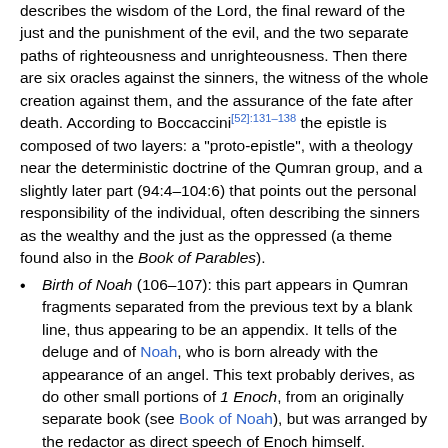describes the wisdom of the Lord, the final reward of the just and the punishment of the evil, and the two separate paths of righteousness and unrighteousness. Then there are six oracles against the sinners, the witness of the whole creation against them, and the assurance of the fate after death. According to Boccaccini[52]:131–138 the epistle is composed of two layers: a "proto-epistle", with a theology near the deterministic doctrine of the Qumran group, and a slightly later part (94:4–104:6) that points out the personal responsibility of the individual, often describing the sinners as the wealthy and the just as the oppressed (a theme found also in the Book of Parables).
Birth of Noah (106–107): this part appears in Qumran fragments separated from the previous text by a blank line, thus appearing to be an appendix. It tells of the deluge and of Noah, who is born already with the appearance of an angel. This text probably derives, as do other small portions of 1 Enoch, from an originally separate book (see Book of Noah), but was arranged by the redactor as direct speech of Enoch himself.
Conclusion (108): this second appendix was not found in Qumran and is considered to be the work of the final redactor. It highlights the "generation of light" in opposition to the sinners.